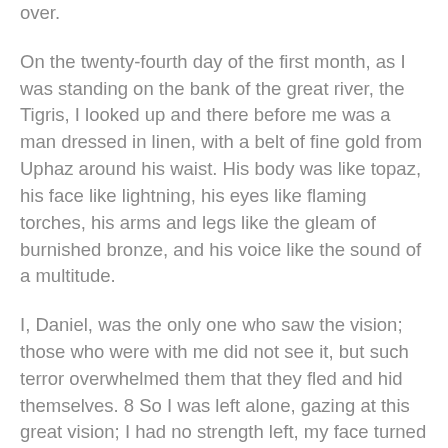over.
On the twenty-fourth day of the first month, as I was standing on the bank of the great river, the Tigris, I looked up and there before me was a man dressed in linen, with a belt of fine gold from Uphaz around his waist. His body was like topaz, his face like lightning, his eyes like flaming torches, his arms and legs like the gleam of burnished bronze, and his voice like the sound of a multitude.
I, Daniel, was the only one who saw the vision; those who were with me did not see it, but such terror overwhelmed them that they fled and hid themselves. 8 So I was left alone, gazing at this great vision; I had no strength left, my face turned deathly pale and I was helpless." Daniel 10:1-8 (NIV)
"Now I have come to explain to you what will happen to your people in the future, for the vision